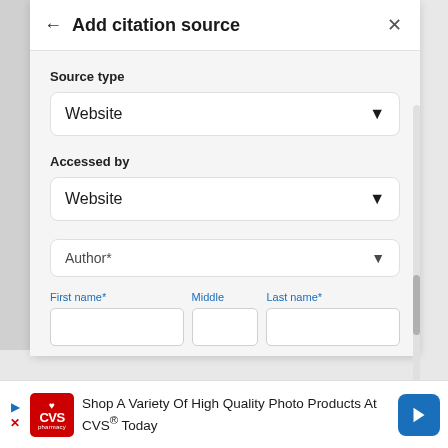Add citation source
Source type
Website
Accessed by
Website
Author*
First name* Middle Last name*
[Figure (screenshot): Advertisement banner for CVS Pharmacy showing 'Shop A Variety Of High Quality Photo Products At CVS® Today']